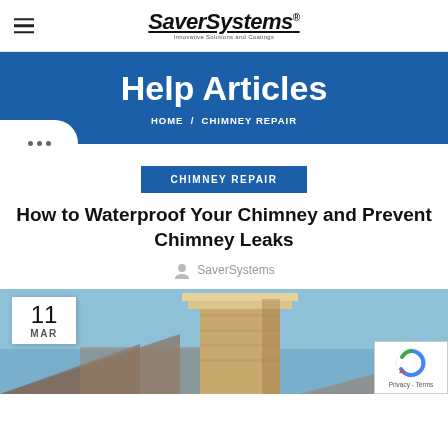SaverSystems® Innovative Solutions and Coatings
Help Articles
HOME / CHIMNEY REPAIR
CHIMNEY REPAIR
How to Waterproof Your Chimney and Prevent Chimney Leaks
SaverSystems
[Figure (photo): Chimney on rooftop against blue sky with date badge showing 11 MAR]